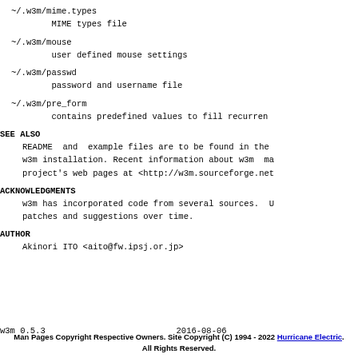~/.w3m/mime.types
        MIME types file
~/.w3m/mouse
        user defined mouse settings
~/.w3m/passwd
        password and username file
~/.w3m/pre_form
        contains predefined values to fill recurren
SEE ALSO
README  and  example files are to be found in the
w3m installation. Recent information about w3m  ma
project's web pages at <http://w3m.sourceforge.net
ACKNOWLEDGMENTS
w3m has incorporated code from several sources.  U
patches and suggestions over time.
AUTHOR
Akinori ITO <aito@fw.ipsj.or.jp>
w3m 0.5.3                          2016-08-06
Man Pages Copyright Respective Owners. Site Copyright (C) 1994 - 2022 Hurricane Electric. All Rights Reserved.